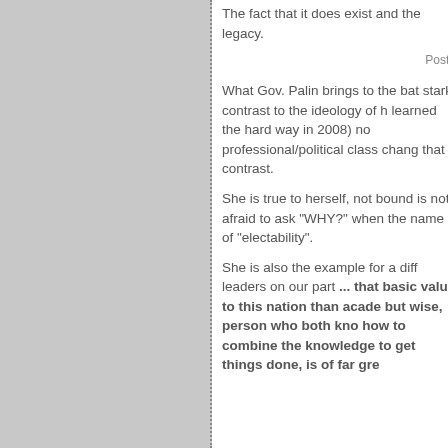The fact that it does exist and the legacy.
Posted
What Gov. Palin brings to the bat stark contrast to the ideology of h learned the hard way in 2008) no professional/political class chang that contrast.
She is true to herself, not bound is not afraid to ask "WHY?" when the name of "electability".
She is also the example for a diff leaders on our part ... that basic value to this nation than acade but wise, person who both kno how to combine the knowledge to get things done, is of far gre